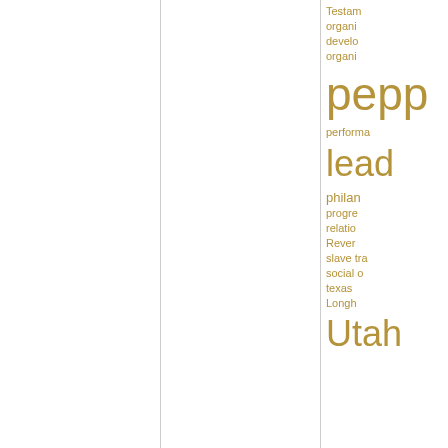[Figure (other): Tag cloud / word cloud fragment visible in the right column, showing partial words in varying sizes in a golden/brown color: Testament, organi-, develo-, organi-, pepp-, performa-, lead-, philan-, progre-, relatio-, Rever-, slave tra-, social o-, texas, Longh-, Utah]